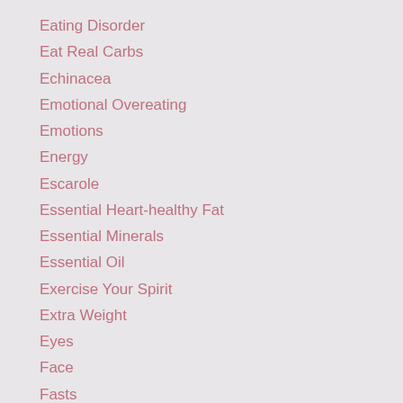Eating Disorder
Eat Real Carbs
Echinacea
Emotional Overeating
Emotions
Energy
Escarole
Essential Heart-healthy Fat
Essential Minerals
Essential Oil
Exercise Your Spirit
Extra Weight
Eyes
Face
Fasts
Fats
Fear
Fetal Health
Fiber